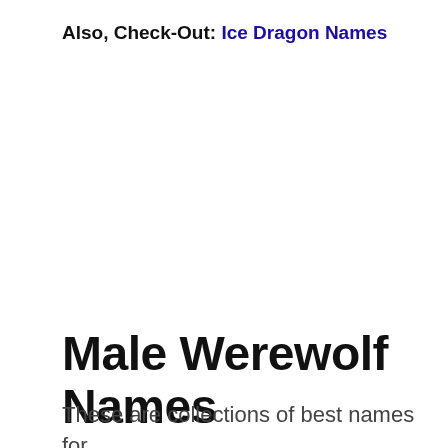Also, Check-Out: Ice Dragon Names
Male Werewolf Names
These are collections of best names for